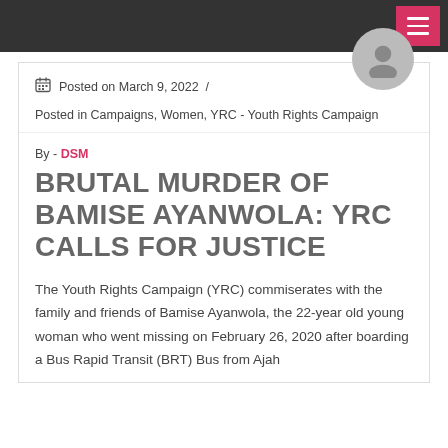Posted on March 9, 2022 /
Posted in Campaigns, Women, YRC - Youth Rights Campaign
By - DSM
BRUTAL MURDER OF BAMISE AYANWOLA: YRC CALLS FOR JUSTICE
The Youth Rights Campaign (YRC) commiserates with the family and friends of Bamise Ayanwola, the 22-year old young woman who went missing on February 26, 2020 after boarding a Bus Rapid Transit (BRT) Bus from Ajah